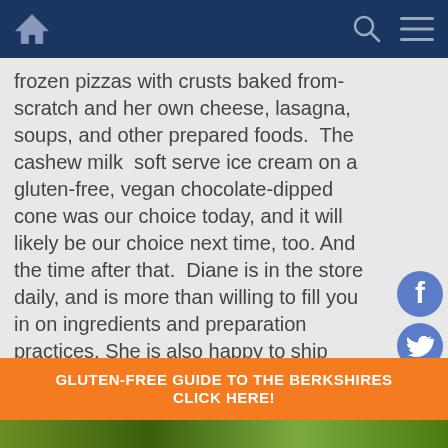Navigation bar with home, search, and menu icons
frozen pizzas with crusts baked from-scratch and her own cheese, lasagna, soups, and other prepared foods.  The cashew milk  soft serve ice cream on a gluten-free, vegan chocolate-dipped cone was our choice today, and it will likely be our choice next time, too. And the time after that.  Diane is in the store daily, and is more than willing to fill you in on ingredients and preparation practices. She is also happy to ship chocolates anywhere, so you can spread the love around.  This place is worth a visit, no matter where you reside in Connecticut. Just remember to bring a cooler, as you
[Figure (other): Facebook, Twitter, and Instagram social media icons on right side]
[Figure (other): Orange banner advertisement reading GLUTEN-FREE GUIDE TO THE BERKSHIRES CLICK HERE! over a green nature background]